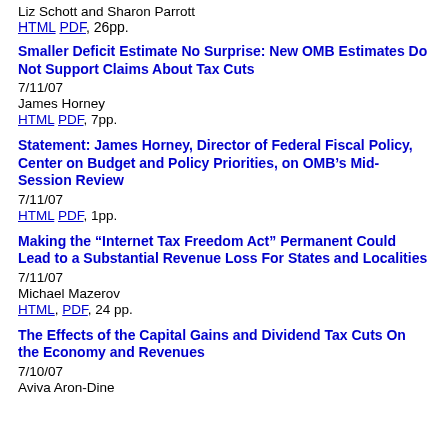Liz Schott and Sharon Parrott
HTML PDF, 26pp.
Smaller Deficit Estimate No Surprise: New OMB Estimates Do Not Support Claims About Tax Cuts
7/11/07
James Horney
HTML PDF, 7pp.
Statement: James Horney, Director of Federal Fiscal Policy, Center on Budget and Policy Priorities, on OMB’s Mid-Session Review
7/11/07
HTML PDF, 1pp.
Making the “Internet Tax Freedom Act” Permanent Could Lead to a Substantial Revenue Loss For States and Localities
7/11/07
Michael Mazerov
HTML, PDF, 24 pp.
The Effects of the Capital Gains and Dividend Tax Cuts On the Economy and Revenues
7/10/07
Aviva Aron-Dine